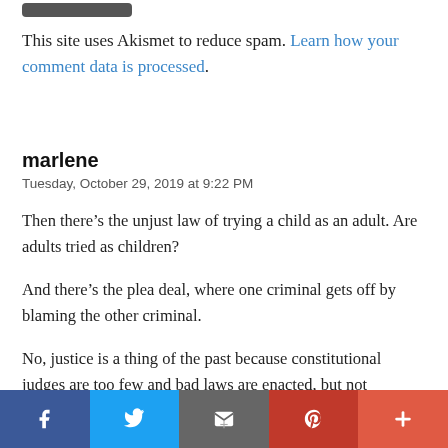[Figure (other): Gray rounded rectangle button at top]
This site uses Akismet to reduce spam. Learn how your comment data is processed.
marlene
Tuesday, October 29, 2019 at 9:22 PM
Then there’s the unjust law of trying a child as an adult. Are adults tried as children?
And there’s the plea deal, where one criminal gets off by blaming the other criminal.
No, justice is a thing of the past because constitutional judges are too few and bad laws are enacted, but not followed by those who make these laws. And unconstitutional laws are enforced.
[Figure (infographic): Social media share bar with Facebook, Twitter, Email, Pinterest, and More buttons]